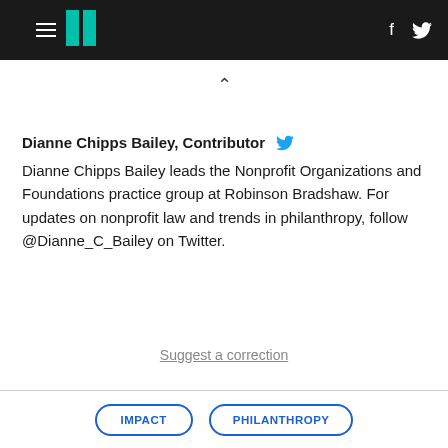HuffPost header with hamburger menu, logo, Facebook and Twitter icons
Dianne Chipps Bailey, Contributor [Twitter icon] Dianne Chipps Bailey leads the Nonprofit Organizations and Foundations practice group at Robinson Bradshaw. For updates on nonprofit law and trends in philanthropy, follow @Dianne_C_Bailey on Twitter.
Suggest a correction
IMPACT
PHILANTHROPY